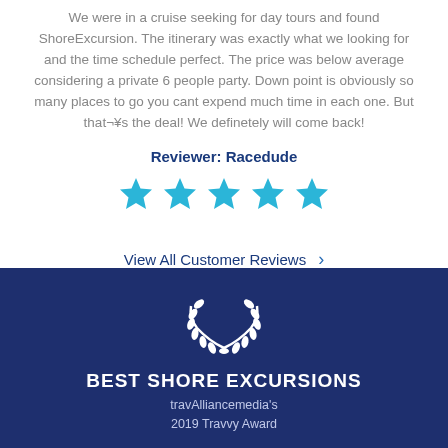We were in a cruise seeking for day tours and found ShoreExcursion. The itinerary was exactly what we looking for and the time schedule perfect. The price was below average considering a private 6 people party. Down point is obviously so many places to go you cant expend much time in each one. But that¬¥s the deal! We definetely will come back!
Reviewer: Racedude
[Figure (other): Five blue star rating icons]
View All Customer Reviews ›
[Figure (illustration): White laurel wreath icon on dark blue background]
BEST SHORE EXCURSIONS
travAlliancemedia's
2019 Travvy Award